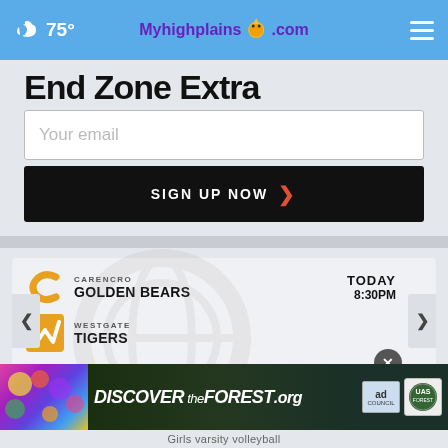75° Myhighplains.com
End Zone Extra
Your email
SIGN UP NOW
[Figure (infographic): Sports scores widget showing Carencro Golden Bears vs Westgate Tigers, TODAY 8:30PM, with team logos and navigation arrows]
[Figure (infographic): Discover the Forest .org advertisement banner with colorful flowers on left, forest background, ad council and US Forest Service logos]
Girls varsity volleyball